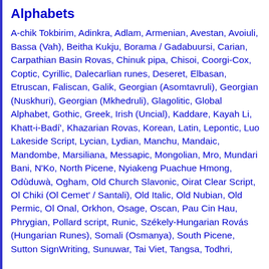Alphabets
A-chik Tokbirim, Adinkra, Adlam, Armenian, Avestan, Avoiuli, Bassa (Vah), Beitha Kukju, Borama / Gadabuursi, Carian, Carpathian Basin Rovas, Chinuk pipa, Chisoi, Coorgi-Cox, Coptic, Cyrillic, Dalecarlian runes, Deseret, Elbasan, Etruscan, Faliscan, Galik, Georgian (Asomtavruli), Georgian (Nuskhuri), Georgian (Mkhedruli), Glagolitic, Global Alphabet, Gothic, Greek, Irish (Uncial), Kaddare, Kayah Li, Khatt-i-Badí', Khazarian Rovas, Korean, Latin, Lepontic, Luo Lakeside Script, Lycian, Lydian, Manchu, Mandaic, Mandombe, Marsiliana, Messapic, Mongolian, Mro, Mundari Bani, N'Ko, North Picene, Nyiakeng Puachue Hmong, Odùduwà, Ogham, Old Church Slavonic, Oirat Clear Script, Ol Chiki (Ol Cemet' / Santali), Old Italic, Old Nubian, Old Permic, Ol Onal, Orkhon, Osage, Oscan, Pau Cin Hau, Phrygian, Pollard script, Runic, Székely-Hungarian Rovás (Hungarian Runes), Somali (Osmanya), South Picene, Sutton SignWriting, Sunuwar, Tai Viet, Tangsa, Todhri,